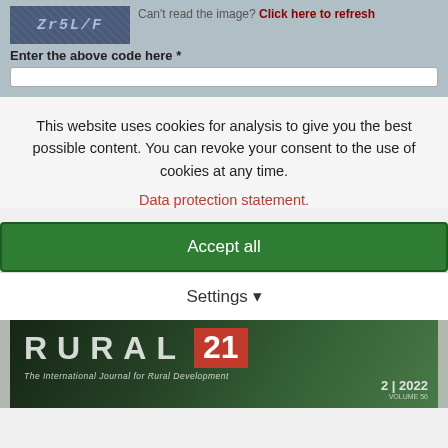[Figure (screenshot): CAPTCHA image showing distorted alphanumeric characters on a dark blue-grey background]
Can't read the image? Click here to refresh
Enter the above code here *
This website uses cookies for analysis to give you the best possible content. You can revoke your consent to the use of cookies at any time.
Data protection statement.
Accept all
Settings
[Figure (photo): Rural 21 journal cover showing bold white text 'RURAL 21' with a red box containing '21', subtitle 'The International Journal for Rural Development', and edition '2 | 2022 VOLUME 56', set against a green forested background]